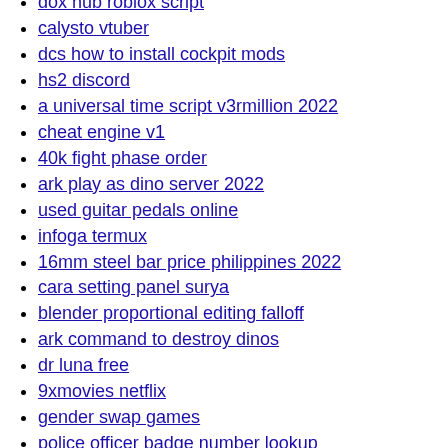dox hub roblox script
calysto vtuber
dcs how to install cockpit mods
hs2 discord
a universal time script v3rmillion 2022
cheat engine v1
40k fight phase order
ark play as dino server 2022
used guitar pedals online
infoga termux
16mm steel bar price philippines 2022
cara setting panel surya
blender proportional editing falloff
ark command to destroy dinos
dr luna free
9xmovies netflix
gender swap games
police officer badge number lookup
feather client
roblox promo codes for robux 2022
kgf chapter 2 full movie
naked college coeds having sex pics
simsdom 4 mods
loretto abbey mass schedule
pantasya ni mister